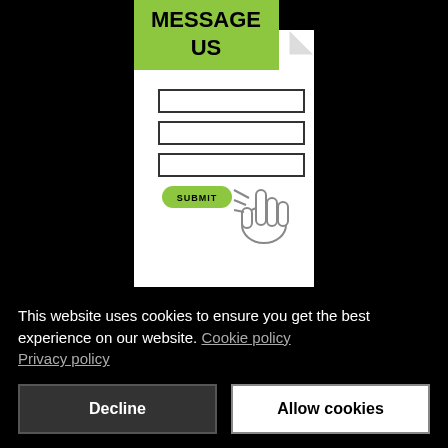[Figure (illustration): A stylized illustration of a contact form with 'MESSAGE US' label in green, form input fields, a SUBMIT button, and a hand cursor icon pointing at the form.]
STRUCTURAL
This website uses cookies to ensure you get the best experience on our website. Cookie policy
Privacy policy
Decline
Allow cookies